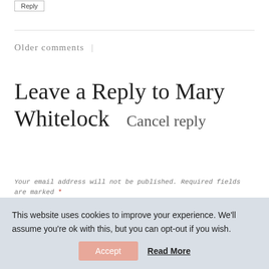Reply
Older comments |
Leave a Reply to Mary Whitelock   Cancel reply
Your email address will not be published. Required fields are marked *
This website uses cookies to improve your experience. We'll assume you're ok with this, but you can opt-out if you wish.
Accept   Read More